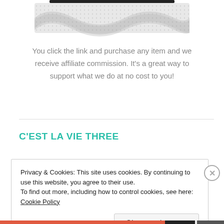[Figure (photo): Partial image of a product or banner at the top of the page, showing a curved/wavy design with a dotted/textured pattern on a white background.]
You click the link and purchase any item and we receive affiliate commission. It's a great way to support what we do at no cost to you!
C'EST LA VIE THREE
Privacy & Cookies: This site uses cookies. By continuing to use this website, you agree to their use.
To find out more, including how to control cookies, see here: Cookie Policy
Close and accept